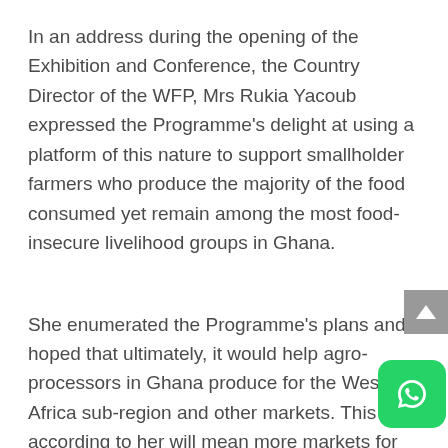In an address during the opening of the Exhibition and Conference, the Country Director of the WFP, Mrs Rukia Yacoub expressed the Programme's delight at using a platform of this nature to support smallholder farmers who produce the majority of the food consumed yet remain among the most food-insecure livelihood groups in Ghana.
She enumerated the Programme's plans and hoped that ultimately, it would help agro-processors in Ghana produce for the West Africa sub-region and other markets. This according to her will mean more markets for smallholder farmers' produce, more income and better opportunity for them to extricate